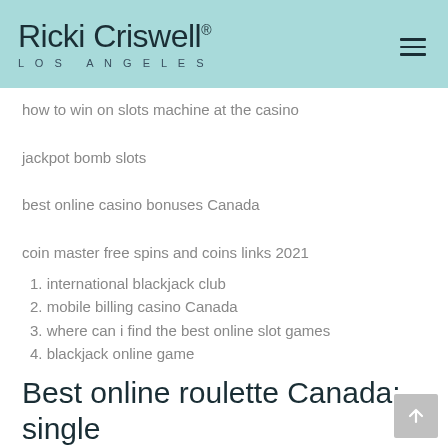Ricki Criswell® LOS ANGELES
how to win on slots machine at the casino
jackpot bomb slots
best online casino bonuses Canada
coin master free spins and coins links 2021
1. international blackjack club
2. mobile billing casino Canada
3. where can i find the best online slot games
4. blackjack online game
Best online roulette Canada: single